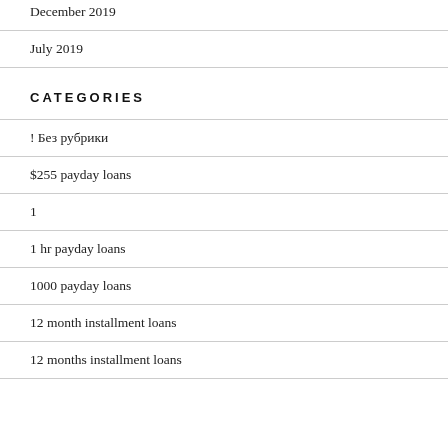December 2019
July 2019
CATEGORIES
! Без рубрики
$255 payday loans
1
1 hr payday loans
1000 payday loans
12 month installment loans
12 months installment loans